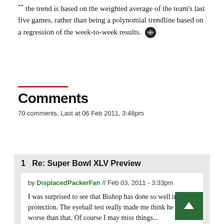the trend is based on the weighted average of the team's last five games, rather than being a polynomial trendline based on a regression of the week-to-week results.
Comments
70 comments, Last at 06 Feb 2011, 3:48pm
1  Re: Super Bowl XLV Preview
by DisplacedPackerFan // Feb 03, 2011 - 3:33pm
I was surprised to see that Bishop has done so well in pass protection. The eyeball test really made me think he was worse than that. Of course I may miss things...